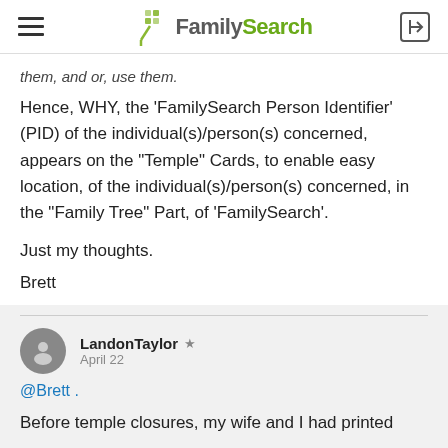FamilySearch
them, and or, use them.
Hence, WHY, the 'FamilySearch Person Identifier' (PID) of the individual(s)/person(s) concerned, appears on the "Temple" Cards, to enable easy location, of the individual(s)/person(s) concerned, in the "Family Tree" Part, of 'FamilySearch'.
Just my thoughts.
Brett
LandonTaylor ★
April 22
@Brett .
Before temple closures, my wife and I had printed